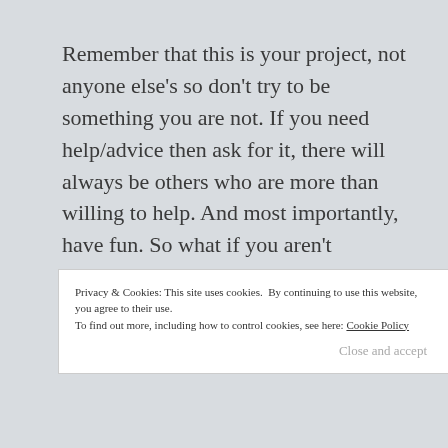Remember that this is your project, not anyone else's so don't try to be something you are not. If you need help/advice then ask for it, there will always be others who are more than willing to help. And most importantly, have fun. So what if you aren't organised or post sporadically that is the quality, not quantity that matters!
Privacy & Cookies: This site uses cookies. By continuing to use this website, you agree to their use.
To find out more, including how to control cookies, see here: Cookie Policy
Close and accept